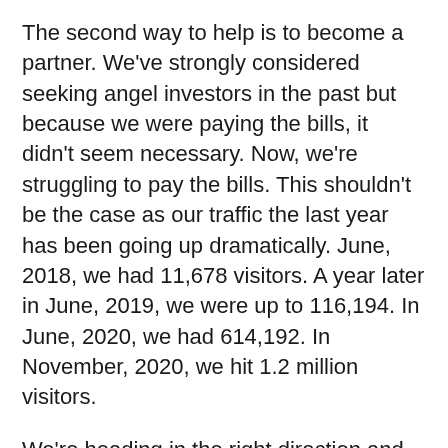The second way to help is to become a partner. We've strongly considered seeking angel investors in the past but because we were paying the bills, it didn't seem necessary. Now, we're struggling to pay the bills. This shouldn't be the case as our traffic the last year has been going up dramatically. June, 2018, we had 11,678 visitors. A year later in June, 2019, we were up to 116,194. In June, 2020, we had 614,192. In November, 2020, we hit 1.2 million visitors.
We're heading in the right direction and we believe we're ready talk to patriotic investors who want to not only "get in on the action" but more importantly who want to help America hear the truth. Interested investors should contact me directly with the contact button